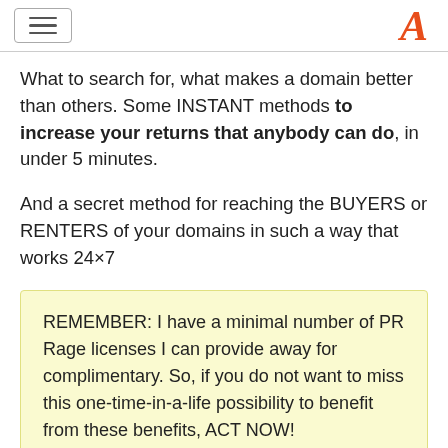[hamburger menu] [A logo]
What to search for, what makes a domain better than others. Some INSTANT methods to increase your returns that anybody can do, in under 5 minutes.
And a secret method for reaching the BUYERS or RENTERS of your domains in such a way that works 24×7
REMEMBER: I have a minimal number of PR Rage licenses I can provide away for complimentary. So, if you do not want to miss this one-time-in-a-life possibility to benefit from these benefits, ACT NOW!
What Do I Have To Do?